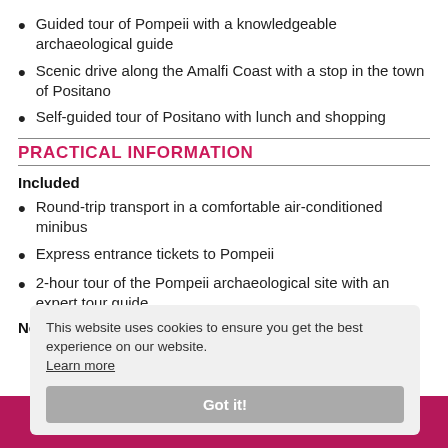Guided tour of Pompeii with a knowledgeable archaeological guide
Scenic drive along the Amalfi Coast with a stop in the town of Positano
Self-guided tour of Positano with lunch and shopping
PRACTICAL INFORMATION
Included
Round-trip transport in a comfortable air-conditioned minibus
Express entrance tickets to Pompeii
2-hour tour of the Pompeii archaeological site with an expert tour guide
Not included
[Figure (screenshot): Cookie consent popup overlay with text: 'This website uses cookies to ensure you get the best experience on our website.' with a 'Learn more' link and a 'Got it!' button]
From €169 Book now